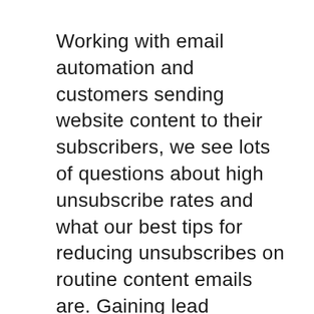Working with email automation and customers sending website content to their subscribers, we see lots of questions about high unsubscribe rates and what our best tips for reducing unsubscribes on routine content emails are. Gaining lead subscribers is one thing, keeping them can be just as difficult for marketers.  Reducing Unsubscribes The first step to [...]